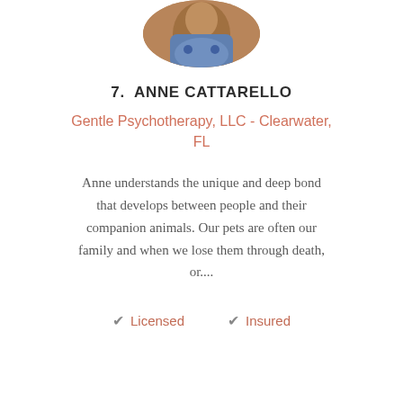[Figure (photo): Circular cropped portrait photo of Anne Cattarello, partially visible at top of page]
7.  ANNE CATTARELLO
Gentle Psychotherapy, LLC - Clearwater, FL
Anne understands the unique and deep bond that develops between people and their companion animals. Our pets are often our family and when we lose them through death, or....
✔ Licensed
✔ Insured